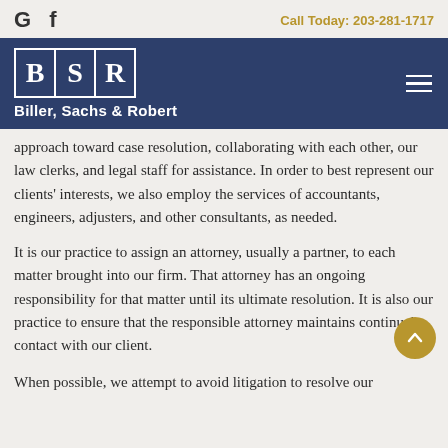G  f    Call Today: 203-281-1717
[Figure (logo): BSR logo with white letters in bordered boxes, Biller, Sachs & Robert firm name in white on navy background, with hamburger menu icon]
approach toward case resolution, collaborating with each other, our law clerks, and legal staff for assistance. In order to best represent our clients' interests, we also employ the services of accountants, engineers, adjusters, and other consultants, as needed.
It is our practice to assign an attorney, usually a partner, to each matter brought into our firm. That attorney has an ongoing responsibility for that matter until its ultimate resolution. It is also our practice to ensure that the responsible attorney maintains continual contact with our client.
When possible, we attempt to avoid litigation to resolve our